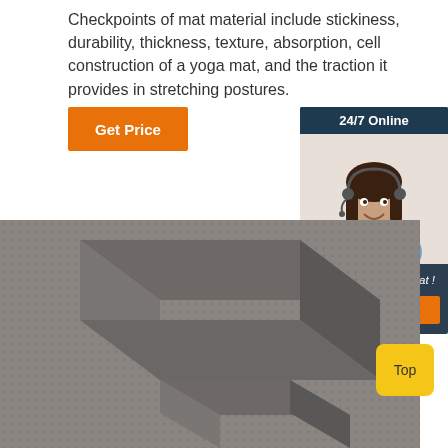Checkpoints of mat material include stickiness, durability, thickness, texture, absorption, cell construction of a yoga mat, and the traction it provides in stretching postures.
[Figure (other): Orange 'Get Price' button]
[Figure (other): Chat widget with '24/7 Online' header, customer service representative photo with headset, 'Click here for free chat!' text, and orange QUOTATION button]
[Figure (photo): Close-up photo of dark gray yoga blocks stacked on a yoga mat]
[Figure (other): Yellow 'Top' button in bottom right corner]